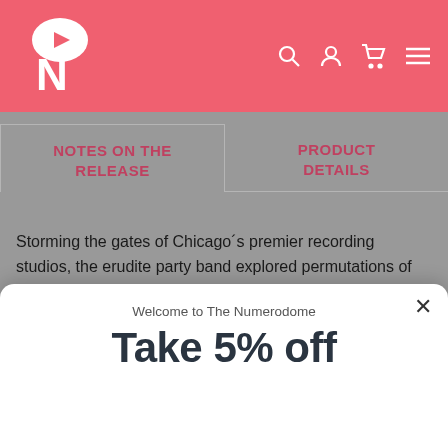[Figure (logo): Numero Group logo — white N with play button icon on salmon/coral background]
Navigation icons: search, account, cart, menu
NOTES ON THE RELEASE
PRODUCT DETAILS
Storming the gates of Chicago's premier recording studios, the erudite party band explored permutations of soul, jazz-fusion, new wave, and disco with little regard for studio rates or the availability of magnetic tape.
Welcome to The Numerodome
Take 5% off